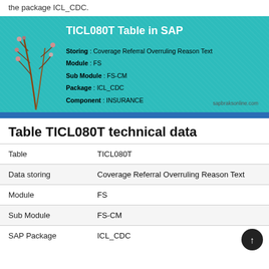the package ICL_CDC.
[Figure (infographic): TICL080T Table in SAP banner with teal background showing table metadata: Storing: Coverage Referral Overruling Reason Text, Module: FS, Sub Module: FS-CM, Package: ICL_CDC, Component: INSURANCE. Watermark: sapbraksonline.com]
Table TICL080T technical data
| Table | TICL080T |
| Data storing | Coverage Referral Overruling Reason Text |
| Module | FS |
| Sub Module | FS-CM |
| SAP Package | ICL_CDC |